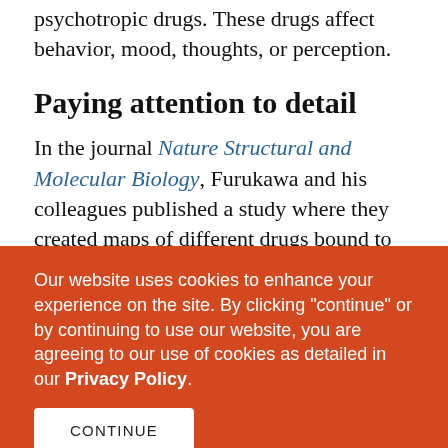psychotropic drugs. These drugs affect behavior, mood, thoughts, or perception.
Paying attention to detail
In the journal Nature Structural and Molecular Biology, Furukawa and his colleagues published a study where they created maps of different drugs bound to the NMDA receptor channel. This let them figure out how long the drugs were able to stick and block the flow of ions. The longer they stayed connected, the greater the potential beneficial effect for treating
Our website uses cookies to enhance your experience on the site. By clicking "continue" or by continuing to use our website, you are agreeing to our use of cookies as detailed in our Privacy Policy.
CONTINUE